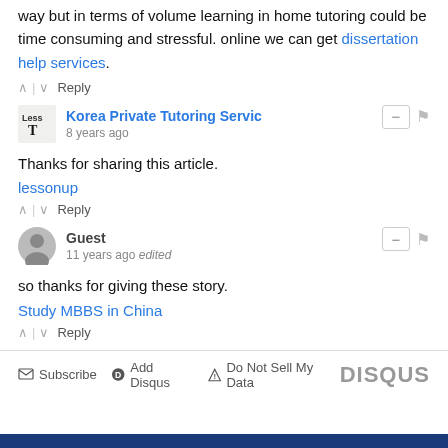way but in terms of volume learning in home tutoring could be time consuming and stressful. online we can get dissertation help services.
^ | v Reply
Korea Private Tutoring Servic
8 years ago
Thanks for sharing this article.
lessonup
^ | v Reply
Guest
11 years ago edited
so thanks for giving these story.
Study MBBS in China
^ | v Reply
Subscribe  Add Disqus  Do Not Sell My Data    DISQUS